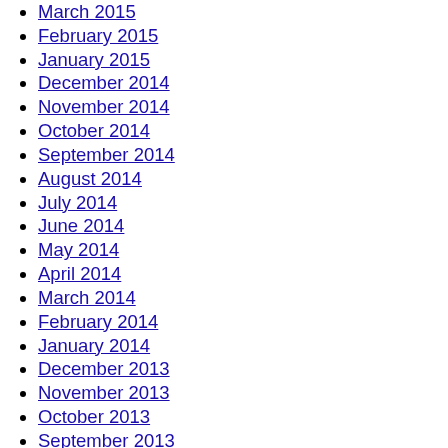March 2015
February 2015
January 2015
December 2014
November 2014
October 2014
September 2014
August 2014
July 2014
June 2014
May 2014
April 2014
March 2014
February 2014
January 2014
December 2013
November 2013
October 2013
September 2013
August 2013
July 2013
June 2013
May 2013
April 2013
March 2013